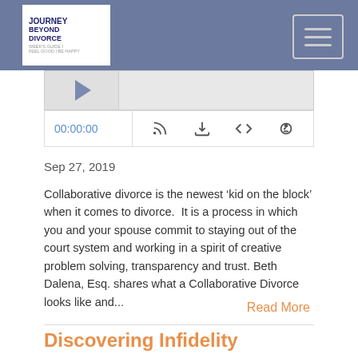Journey Beyond Divorce - navigation header with logo and menu button
[Figure (screenshot): Audio player with play button, waveform area, timestamp 00:00:00, and media control icons (RSS, download, embed, share)]
Sep 27, 2019
Collaborative divorce is the newest ‘kid on the block’ when it comes to divorce.  It is a process in which you and your spouse commit to staying out of the court system and working in a spirit of creative problem solving, transparency and trust. Beth Dalena, Esq. shares what a Collaborative Divorce looks like and...
Read More
Discovering Infidelity
[Figure (screenshot): Podcast player card for Discovering Infidelity episode with play button, JOURNEY BEYOND DIVORCE PODCAST label, and bold episode title Discovering Infidelity]